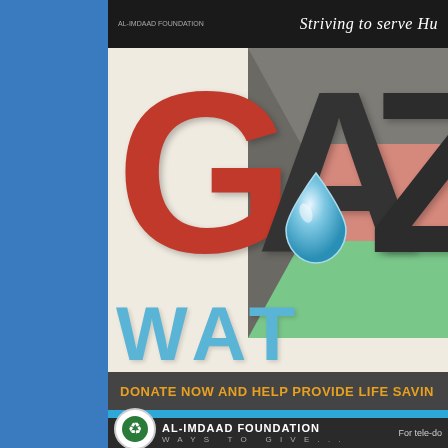Striving to serve Humanity
[Figure (infographic): Gaza Water campaign infographic with large bold letters GAZ in Palestinian flag colors (red G, flag-colored A, dark Z) with a blue water droplet, and WATER text in blue below, on cream/beige background]
DONATE NOW AND HELP PROVIDE LIFE SAVING
AL-IMDAAD FOUNDATION
WAYS TO GIVE...
For tele-do